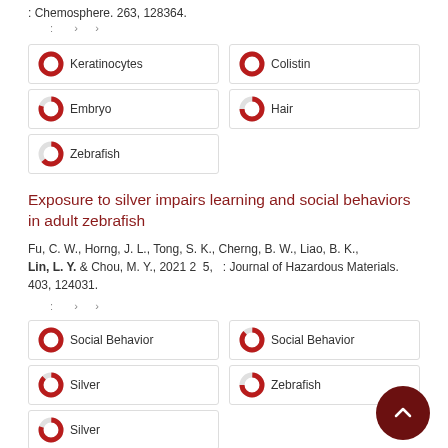: Chemosphere. 263, 128364.
: › ›
Keratinocytes
Colistin
Embryo
Hair
Zebrafish
Exposure to silver impairs learning and social behaviors in adult zebrafish
Fu, C. W., Horng, J. L., Tong, S. K., Cherng, B. W., Liao, B. K., Lin, L. Y. & Chou, M. Y., 2021 2 5, : Journal of Hazardous Materials. 403, 124031.
: › ›
Social Behavior
Social Behavior
Silver
Zebrafish
Silver